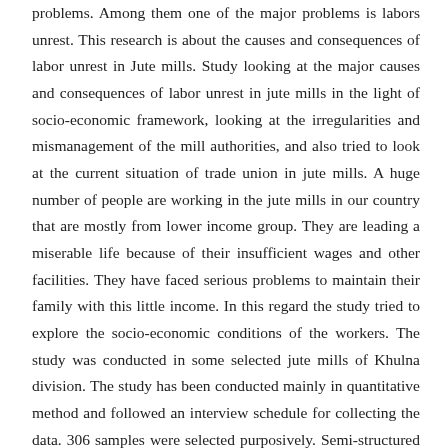problems. Among them one of the major problems is labors unrest. This research is about the causes and consequences of labor unrest in Jute mills. Study looking at the major causes and consequences of labor unrest in jute mills in the light of socio-economic framework, looking at the irregularities and mismanagement of the mill authorities, and also tried to look at the current situation of trade union in jute mills. A huge number of people are working in the jute mills in our country that are mostly from lower income group. They are leading a miserable life because of their insufficient wages and other facilities. They have faced serious problems to maintain their family with this little income. In this regard the study tried to explore the socio-economic conditions of the workers. The study was conducted in some selected jute mills of Khulna division. The study has been conducted mainly in quantitative method and followed an interview schedule for collecting the data. 306 samples were selected purposively. Semi-structured questionnaire was used for conducting interview. Study found most of the workers are